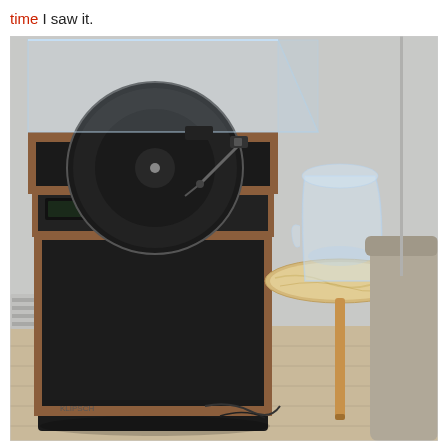time I saw it.
[Figure (photo): A turntable with a clear acrylic dust cover sitting on top of a black speaker cabinet with wood trim. Next to it is a round marble-top side table with a glass vase/pitcher on it, and a grey upholstered sofa arm visible on the right. The setup is on light wood flooring against a white wall.]